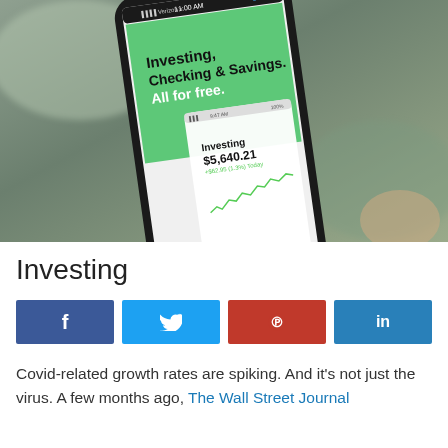[Figure (screenshot): A smartphone held in hand showing the Robinhood app screen. The app displays a green banner reading 'Investing, Checking & Savings. All for free.' with a nested phone showing 'Investing $5,640.21' and a small line chart. The phone's status bar shows 11:00 AM, Verizon signal, and a Done button.]
Investing
[Figure (infographic): Four social media share buttons in a row: Facebook (dark blue, f icon), Twitter (light blue, bird icon), Pinterest (red, P icon), LinkedIn (medium blue, 'in' text).]
Covid-related growth rates are spiking. And it's not just the virus. A few months ago, The Wall Street Journal